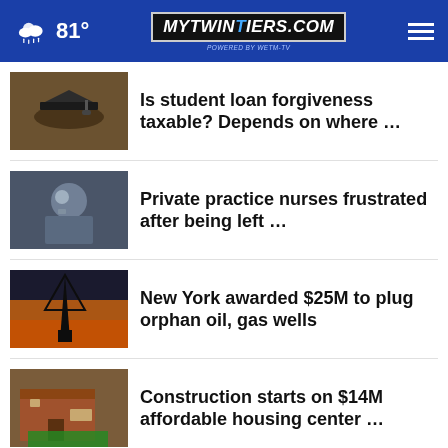81° | MyTwinTiers.com (powered by WETM-TV)
Is student loan forgiveness taxable? Depends on where …
Private practice nurses frustrated after being left …
New York awarded $25M to plug orphan oil, gas wells
Construction starts on $14M affordable housing center …
Pregnant people exposed to cancer-linked chemicals …
More Stories ›